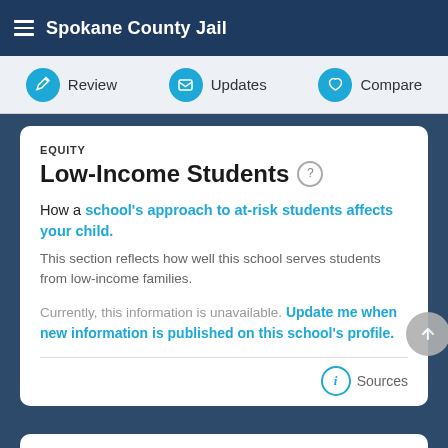Spokane County Jail
Review  Updates  Compare
EQUITY
Low-Income Students
How a school's approach to at-risk students affects your child. This section reflects how well this school serves students from low-income families.
Currently, this information is unavailable. Update me when new information is published on this school's profile.
Sources